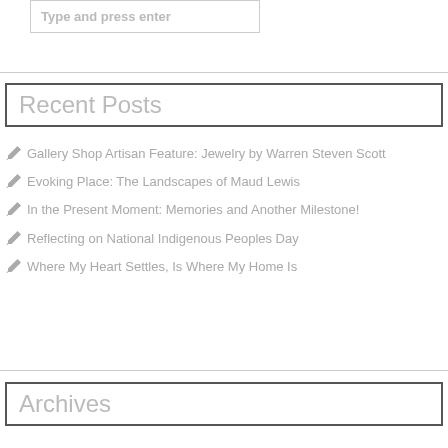Type and press enter
Recent Posts
Gallery Shop Artisan Feature: Jewelry by Warren Steven Scott
Evoking Place: The Landscapes of Maud Lewis
In the Present Moment: Memories and Another Milestone!
Reflecting on National Indigenous Peoples Day
Where My Heart Settles, Is Where My Home Is
Archives